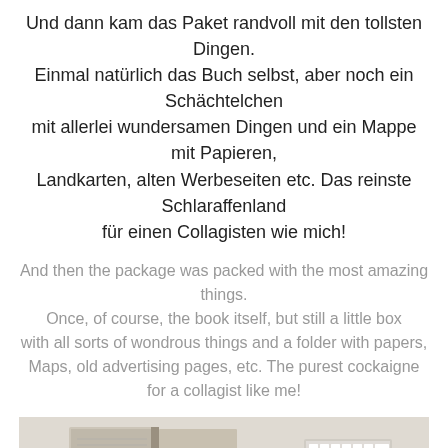Und dann kam das Paket randvoll mit den tollsten Dingen. Einmal natürlich das Buch selbst, aber noch ein Schächtelchen mit allerlei wundersamen Dingen und ein Mappe mit Papieren, Landkarten, alten Werbeseiten etc. Das reinste Schlaraffenland für einen Collagisten wie mich!
And then the package was packed with the most amazing things. Once, of course, the book itself, but still a little box with all sorts of wondrous things and a folder with papers, Maps, old advertising pages, etc. The purest cockaigne for a collagist like me!
[Figure (photo): Photo of an open book or album with a small brown box containing colorful items, and a keyboard or grid-like object to the right, on a light background.]